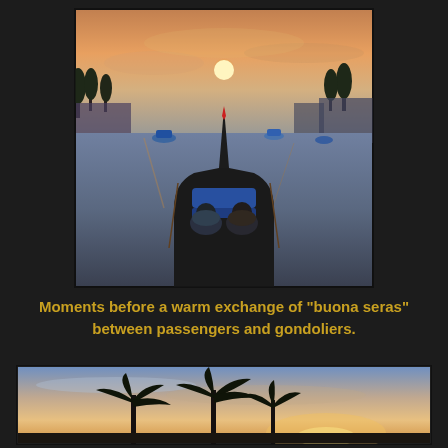[Figure (photo): View from inside a gondola looking forward along the prow toward a sunset over a calm waterway. Palm trees and buildings line the far shore. Several boats are moored in the water. Two passengers sit in the foreground with their backs to the viewer.]
Moments before a warm exchange of "buona seras" between passengers and gondoliers.
[Figure (photo): Silhouette of palm trees against a dramatic sunset sky with peach and golden clouds.]